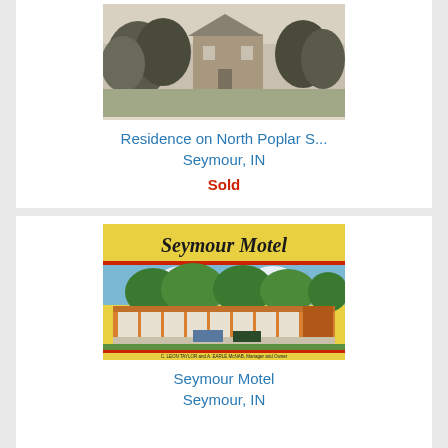[Figure (photo): Black and white photo of a residence on North Poplar Street, Seymour, IN, surrounded by trees]
Residence on North Poplar S...
Seymour, IN
Sold
[Figure (photo): Colorful vintage postcard of Seymour Motel, Seymour, IN, showing motel building with cars parked outside and trees in background. Text reads: C. Leon Taylor and A. Earle McNab, Manager and Owner. Located 2 miles north of Junction 50 on Highway 31, Seymour, Indiana.]
Seymour Motel
Seymour, IN